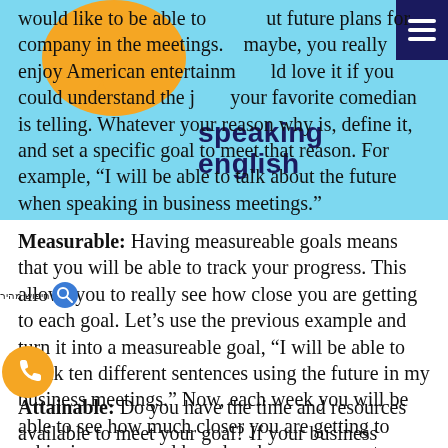[Figure (logo): Orange speech bubble with speaking english text overlay and blue background header banner]
would like to be able to talk about future plans for company in the meetings. Or maybe, you really enjoy American entertainment and would love it if you could understand the jokes your favorite comedian is telling. Whatever your reason why is, define it, and set a specific goal to meet that reason. For example, “I will be able to talk about the future when speaking in business meetings.”
Measurable: Having measureable goals means that you will be able to track your progress. This allows you to really see how close you are getting to each goal. Let’s use the previous example and turn it into a measureable goal, “I will be able to speak ten different sentences using the future in my business meetings.” Now, each week you will be able to see how much closer you are getting to achieving your goal based on how many sentences you can speak.
Attainable: Do you have the time and resources available to meet your goal? If your business meeting is next week, you may need to make shorter term